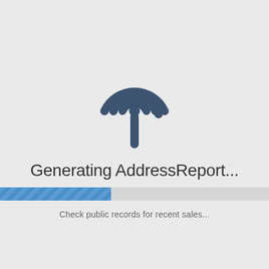[Figure (logo): A circular radar/location pin icon with concentric arcs and a descending pin stem, dark slate blue color]
Generating AddressReport...
[Figure (infographic): A horizontal progress bar, partially filled (approximately 40%) with a blue striped fill on a light gray background track]
Check public records for recent sales...